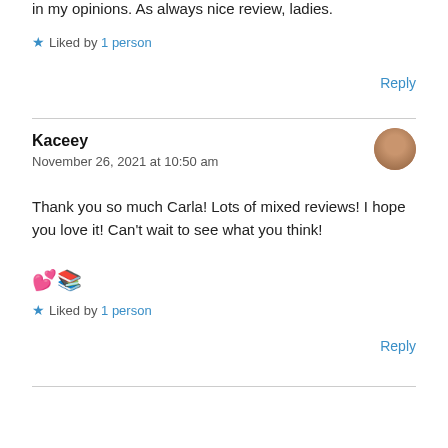in my opinions. As always nice review, ladies.
★ Liked by 1 person
Reply
Kaceey
November 26, 2021 at 10:50 am
Thank you so much Carla! Lots of mixed reviews! I hope you love it! Can't wait to see what you think! 💕📚
★ Liked by 1 person
Reply